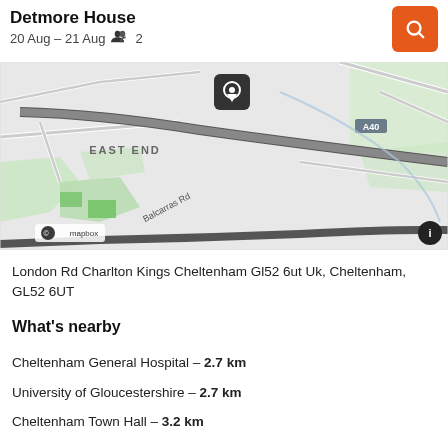Detmore House
20 Aug – 21 Aug  2
[Figure (map): Street map showing area around Detmore House near London Rd, Charlton Kings, Cheltenham. Shows A40 road, East End label, Balcarras Rd label, and a map pin marker. Mapbox attribution visible.]
London Rd Charlton Kings Cheltenham Gl52 6ut Uk, Cheltenham, GL52 6UT
What's nearby
Cheltenham General Hospital – 2.7 km
University of Gloucestershire – 2.7 km
Cheltenham Town Hall – 3.2 km